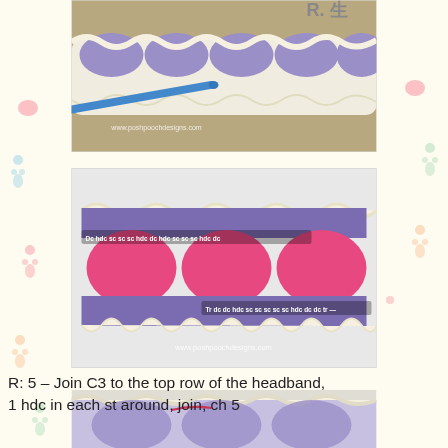[Figure (photo): Crochet headband in progress shown from above, purple and white yarn with a blue crochet hook, watermark reads www.poshpoochdesigns.com]
[Figure (photo): Crochet headband laid flat showing stitch pattern with text overlays: 'Dc hdc sc sc sc hdc dc hdc sc sc sc hdc dc' on top row and 'Tr dc dc hdc sc sc sc sc sc hdc dc dc tr' on bottom row, pink fan stitches in purple border, watermark www.poshpoochdesigns.com]
R: 5 – Join C3 to the top row of the headband, 1 hdc in each st around, join, ch 5
[Figure (photo): Partial photo of crochet headband in purple and white yarn, cropped at bottom of page]